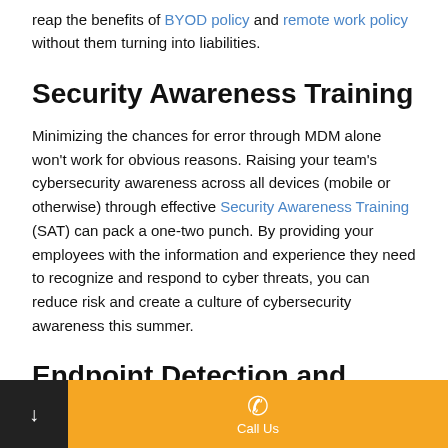reap the benefits of BYOD policy and remote work policy without them turning into liabilities.
Security Awareness Training
Minimizing the chances for error through MDM alone won't work for obvious reasons. Raising your team's cybersecurity awareness across all devices (mobile or otherwise) through effective Security Awareness Training (SAT) can pack a one-two punch. By providing your employees with the information and experience they need to recognize and respond to cyber threats, you can reduce risk and create a culture of cybersecurity awareness this summer.
Endpoint Detection and Response
Hackers are refining their craft by the minute, and some of their malicious files will find their way in. When that happens, early
Call Us